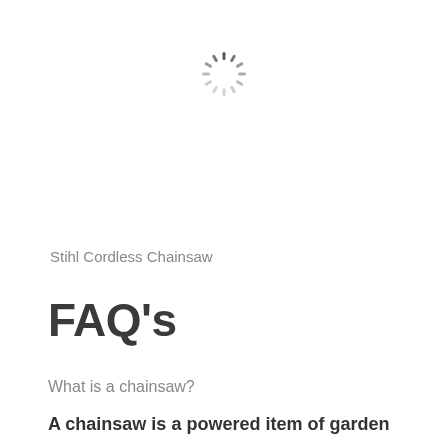[Figure (other): A loading spinner icon (circular dashed/segmented ring) centered near the top of the page]
Stihl Cordless Chainsaw
FAQ's
What is a chainsaw?
A chainsaw is a powered item of garden